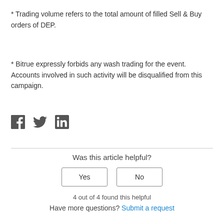* Trading volume refers to the total amount of filled Sell & Buy orders of DEP.
* Bitrue expressly forbids any wash trading for the event. Accounts involved in such activity will be disqualified from this campaign.
[Figure (other): Social share icons: Facebook, Twitter, LinkedIn]
Was this article helpful?
Yes | No buttons
4 out of 4 found this helpful
Have more questions? Submit a request